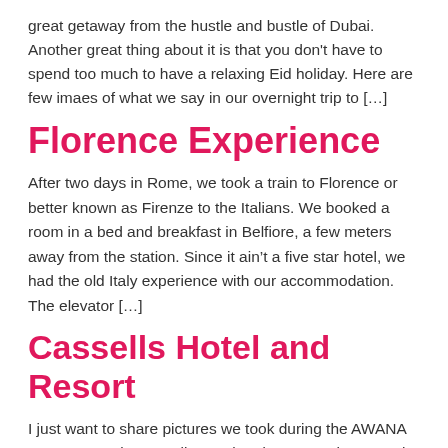great getaway from the hustle and bustle of Dubai. Another great thing about it is that you don't have to spend too much to have a relaxing Eid holiday. Here are few imaes of what we say in our overnight trip to […]
Florence Experience
After two days in Rome, we took a train to Florence or better known as Firenze to the Italians. We booked a room in a bed and breakfast in Belfiore, a few meters away from the station. Since it ain't a five star hotel, we had the old Italy experience with our accommodation. The elevator […]
Cassells Hotel and Resort
I just want to share pictures we took during the AWANA Honor Camp in Cassells Hotel and Resort, Ghantoot Abu Dhabi. They have very friendly staff and clean rooms. Amenities like the swimming pool, billiard rooms, sauna,